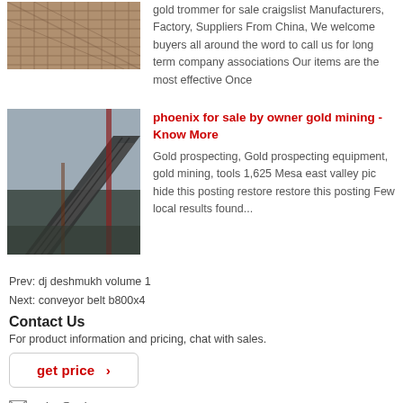[Figure (photo): Industrial mesh/grid material photo, partial view at top of page]
gold trommer for sale craigslist Manufacturers, Factory, Suppliers From China, We welcome buyers all around the word to call us for long term company associations Our items are the most effective Once
[Figure (photo): Conveyor belt system in an industrial warehouse setting]
phoenix for sale by owner gold mining - Know More
Gold prospecting, Gold prospecting equipment, gold mining, tools 1,625 Mesa east valley pic hide this posting restore restore this posting Few local results found...
Prev: dj deshmukh volume 1
Next: conveyor belt b800x4
Contact Us
For product information and pricing, chat with sales.
get price ›
price@pejaw.com
SKY Company © 2021 - 2022 Copyrights. - sitemap